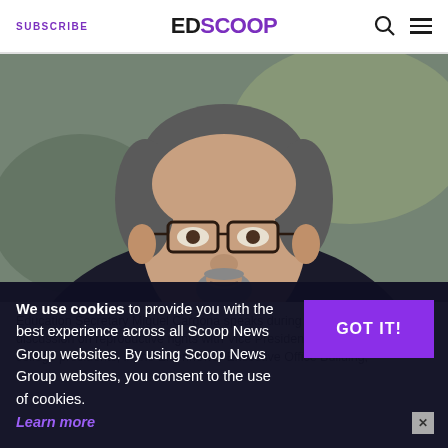SUBSCRIBE | EDSCOOP
[Figure (photo): Close-up photo of Education Secretary Miguel Cardona, a middle-aged man with glasses, salt-and-pepper hair, goatee, wearing a dark suit and white shirt, speaking at an event.]
Education Secretary Miguel Cardona speaks during a roundtable discussion on reproductive rights with Vice President Kamala Harris and college presidents, in the Eisenhower Executive Office Building, next to the White House on Aug. 9. (Mandel Ngan / AFP / Getty Images)
We use cookies to provide you with the best experience across all Scoop News Group websites. By using Scoop News Group websites, you consent to the use of cookies. Learn more